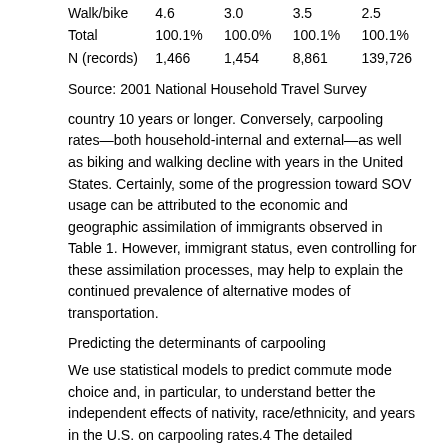| Public transit | 4.4 | 3.1 | 2.8 | 1.8 |
| Walk/bike | 4.6 | 3.0 | 3.5 | 2.5 |
| Total | 100.1% | 100.0% | 100.1% | 100.1% |
| N (records) | 1,466 | 1,454 | 8,861 | 139,726 |
Source: 2001 National Household Travel Survey
country 10 years or longer. Conversely, carpooling rates—both household-internal and external—as well as biking and walking decline with years in the United States. Certainly, some of the progression toward SOV usage can be attributed to the economic and geographic assimilation of immigrants observed in Table 1. However, immigrant status, even controlling for these assimilation processes, may help to explain the continued prevalence of alternative modes of transportation.
Predicting the determinants of carpooling
We use statistical models to predict commute mode choice and, in particular, to understand better the independent effects of nativity, race/ethnicity, and years in the U.S. on carpooling rates.4 The detailed